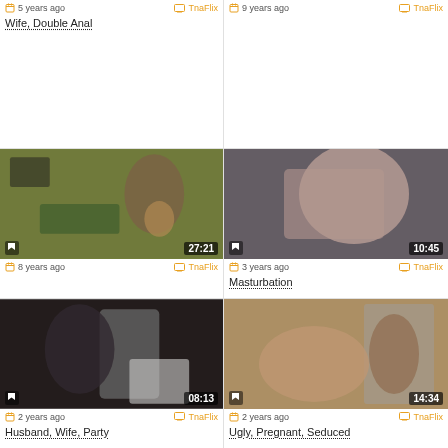[Figure (screenshot): Video thumbnail 1 - top left, no visible image shown]
5 years ago
TnaFlix
Wife, Double Anal
[Figure (screenshot): Video thumbnail 2 - top right, no visible image shown]
9 years ago
TnaFlix
[Figure (screenshot): Video thumbnail - woman in room, yellow wall, duration 27:21]
8 years ago
TnaFlix
[Figure (screenshot): Video thumbnail - older woman in pink top, duration 10:45]
3 years ago
TnaFlix
Masturbation
[Figure (screenshot): Video thumbnail - couple, dark background, duration 08:13]
2 years ago
TnaFlix
Husband, Wife, Party
[Figure (screenshot): Video thumbnail - couple on floor, duration 14:34]
2 years ago
TnaFlix
Ugly, Pregnant, Seduced